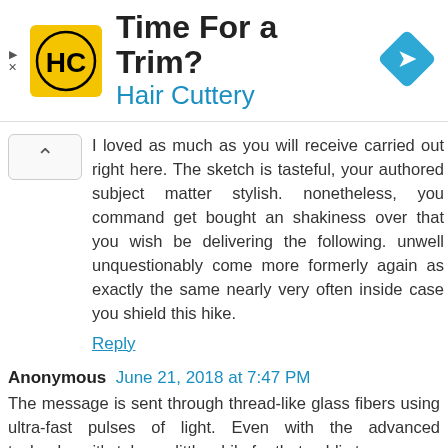[Figure (advertisement): Hair Cuttery ad banner with yellow logo showing HC initials, headline 'Time For a Trim?', subheadline 'Hair Cuttery', and a blue diamond navigation icon on the right.]
I loved as much as you will receive carried out right here. The sketch is tasteful, your authored subject matter stylish. nonetheless, you command get bought an shakiness over that you wish be delivering the following. unwell unquestionably come more formerly again as exactly the same nearly very often inside case you shield this hike.
Reply
Anonymous June 21, 2018 at 7:47 PM
The message is sent through thread-like glass fibers using ultra-fast pulses of light. Even with the advanced technology it's taken a little while for that public to